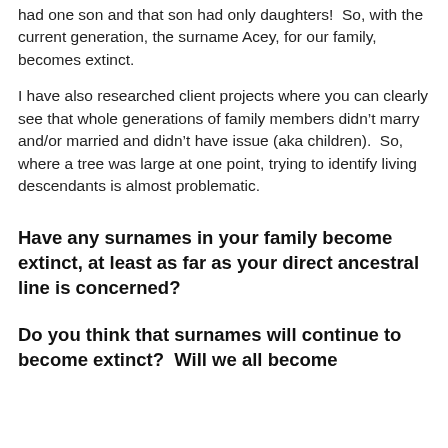had one son and that son had only daughters!  So, with the current generation, the surname Acey, for our family, becomes extinct.
I have also researched client projects where you can clearly see that whole generations of family members didn't marry and/or married and didn't have issue (aka children).  So, where a tree was large at one point, trying to identify living descendants is almost problematic.
Have any surnames in your family become extinct, at least as far as your direct ancestral line is concerned?
Do you think that surnames will continue to become extinct?  Will we all become